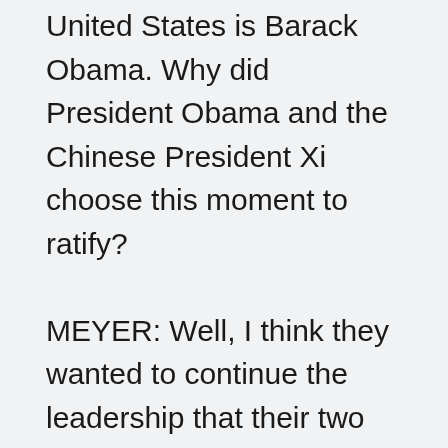United States is Barack Obama. Why did President Obama and the Chinese President Xi choose this moment to ratify? MEYER: Well, I think they wanted to continue the leadership that their two countries have been showing over the last several years. It was really in the fall of 2014 that the first US-China agreement brokered a real breakthrough here and I think laid the groundwork for the Paris Agreement itself because, of course, you remember back in Copenhagen the two countries were at loggerheads and really pointing fingers at each other and the rhetoric was getting quite intense. So the fact that the US and China have in working together on implementation of Paris and choosing this moment right before the G20 summit of world leaders in Hangzhou, China, I think was very significant. And of course both of